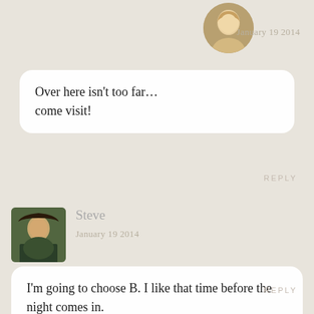[Figure (photo): Circular avatar photo of a blonde woman (Alex), partially visible at top]
January 19 2014
Over here isn't too far… come visit!
REPLY
[Figure (photo): Square avatar photo of a man (Steve) at a sports stadium]
Steve
January 19 2014
I'm going to choose B. I like that time before the night comes in.
REPLY
[Figure (photo): Circular avatar photo of a blonde woman (Alex)]
Alex
January 19 2014